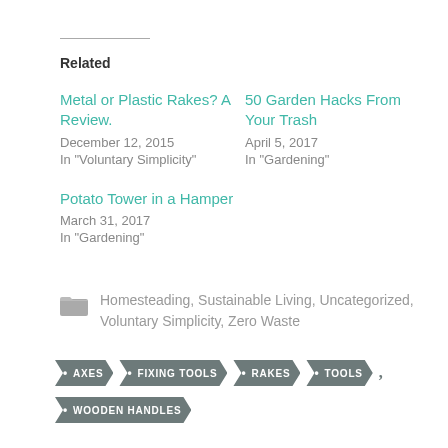Related
Metal or Plastic Rakes? A Review.
December 12, 2015
In "Voluntary Simplicity"
50 Garden Hacks From Your Trash
April 5, 2017
In "Gardening"
Potato Tower in a Hamper
March 31, 2017
In "Gardening"
Homesteading, Sustainable Living, Uncategorized, Voluntary Simplicity, Zero Waste
AXES
FIXING TOOLS
RAKES
TOOLS
WOODEN HANDLES